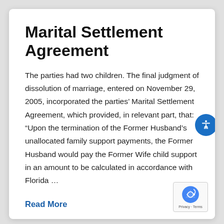Marital Settlement Agreement
The parties had two children. The final judgment of dissolution of marriage, entered on November 29, 2005, incorporated the parties' Marital Settlement Agreement, which provided, in relevant part, that: “Upon the termination of the Former Husband’s unallocated family support payments, the Former Husband would pay the Former Wife child support in an amount to be calculated in accordance with Florida …
Read More